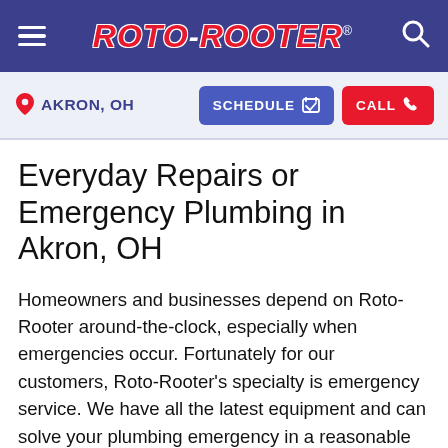[Figure (logo): Roto-Rooter navigation bar with hamburger menu on left, Roto-Rooter logo in center, and search icon on right. Dark blue/purple background.]
AKRON, OH  SCHEDULE  CALL
Everyday Repairs or Emergency Plumbing in Akron, OH
Homeowners and businesses depend on Roto-Rooter around-the-clock, especially when emergencies occur. Fortunately for our customers, Roto-Rooter's specialty is emergency service. We have all the latest equipment and can solve your plumbing emergency in a reasonable amount of time. But don't be afraid to call with a small repair... we take care of those, too! From leaky faucets and running toilets to routine installations, as well as sewer and drain cleaning, our plumbers in Akron, OH provide full-service plumbing maintenance, repairs and clogged drain cleaning to homes and